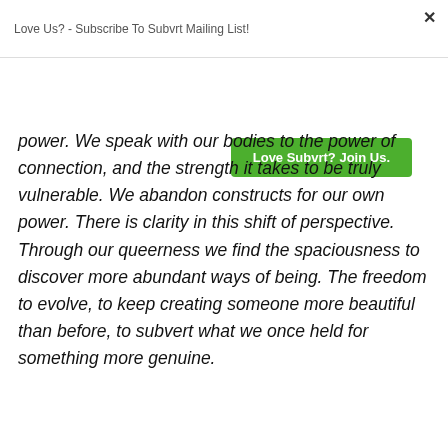Love Us? - Subscribe To Subvrt Mailing List!
[Figure (other): Green button labeled 'Love Subvrt? Join Us.']
power. We speak with our bodies to the power of connection, and the strength it takes to be truly vulnerable. We abandon constructs for our own power. There is clarity in this shift of perspective. Through our queerness we find the spaciousness to discover more abundant ways of being. The freedom to evolve, to keep creating someone more beautiful than before, to subvert what we once held for something more genuine.